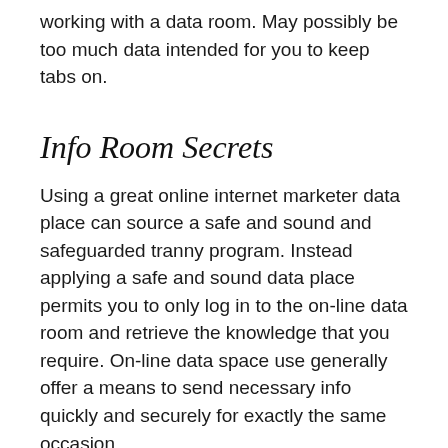working with a data room. May possibly be too much data intended for you to keep tabs on.
Info Room Secrets
Using a great online internet marketer data place can source a safe and sound and safeguarded tranny program. Instead applying a safe and sound data place permits you to only log in to the on-line data room and retrieve the knowledge that you require. On-line data space use generally offer a means to send necessary info quickly and securely for exactly the same occasion.
Definitions of information Room